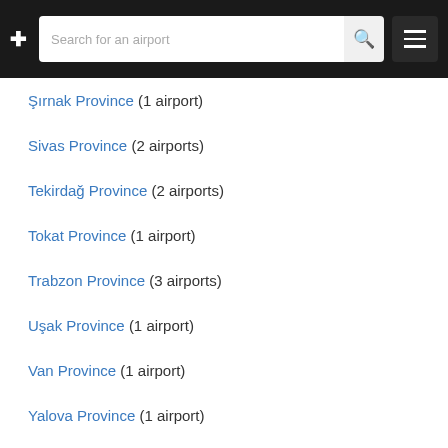Search for an airport
Şırnak Province (1 airport)
Sivas Province (2 airports)
Tekirdağ Province (2 airports)
Tokat Province (1 airport)
Trabzon Province (3 airports)
Uşak Province (1 airport)
Van Province (1 airport)
Yalova Province (1 airport)
Zonguldak Province (6 airports)
Keywords